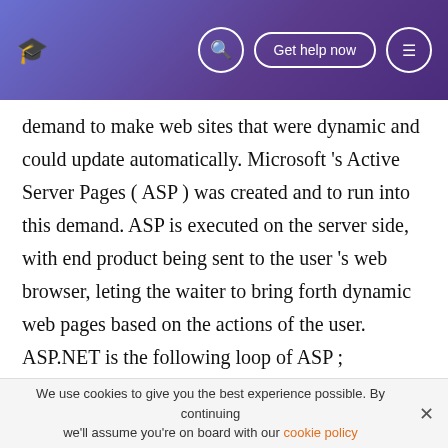Get help now
demand to make web sites that were dynamic and could update automatically. Microsoft 's Active Server Pages ( ASP ) was created and to run into this demand. ASP is executed on the server side, with end product being sent to the user 's web browser, leting the waiter to bring forth dynamic web pages based on the actions of the user. ASP.NET is the following loop of ASP ; nevertheless it is non an upgraded version of ASP. It is a new linguistic communication and is non backward compatible with ASP. ASP.NET is a portion of the Microsoft 's.NET Framework. The.NET Framework is a scheduling environment used to make, construct, deploy
We use cookies to give you the best experience possible. By continuing we'll assume you're on board with our cookie policy